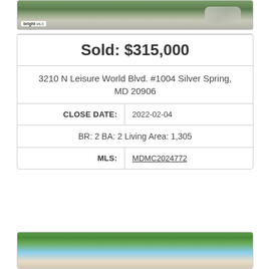[Figure (photo): Exterior photo of condominium building with cars parked, trees visible, Bright MLS watermark in lower left]
Sold: $315,000
3210 N Leisure World Blvd. #1004 Silver Spring, MD 20906
| CLOSE DATE: | 2022-02-04 |
| BR: 2 BA: 2 Living Area: 1,305 |  |
| MLS: | MDMC2024772 |
[Figure (photo): Exterior photo of condominium building with ornate entrance archway visible through green trees against blue sky]